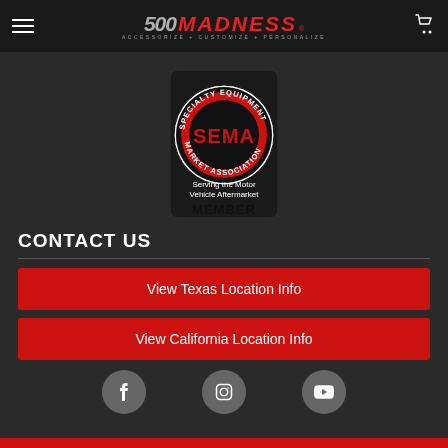500 MADNESS — ACCESSORIZE + CUSTOMIZE + PERSONALIZE
[Figure (logo): SEMA Specialty Equipment Market Association Member badge — circular red and black logo with text 'Serving the Motor Vehicle Aftermarket MEMBER']
CONTACT US
View Texas Location Info
View California Location Info
[Figure (infographic): Three social media icon circles: Facebook (f), Instagram (camera icon), YouTube (play button)]